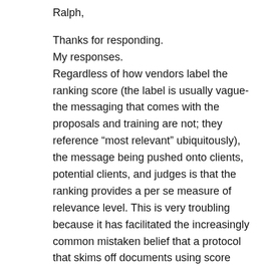Ralph,
Thanks for responding.
My responses.
Regardless of how vendors label the ranking score (the label is usually vague- the messaging that comes with the proposals and training are not; they reference “most relevant” ubiquitously), the message being pushed onto clients, potential clients, and judges is that the ranking provides a per se measure of relevance level. This is very troubling because it has facilitated the increasingly common mistaken belief that a protocol that skims off documents using score thresholds is inherently assuring that the most relevant documents in the corpus are being produced, and that where recall is even